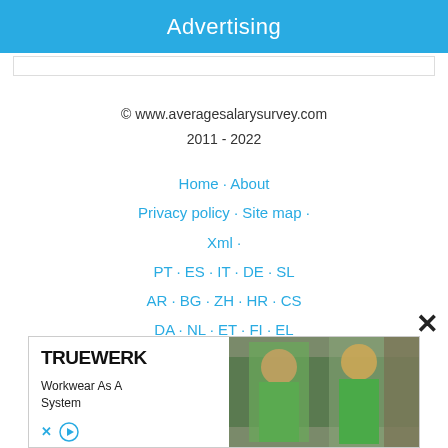Advertising
© www.averagesalarysurvey.com
2011 - 2022
Home · About · Privacy policy · Site map · Xml · PT · ES · IT · DE · SL · AR · BG · ZH · HR · CS · DA · NL · ET · FI · EL
[Figure (photo): Advertisement banner for TRUEWERK workwear showing two workers in green high-visibility workwear. Text reads: TRUEWERK, Workwear As A System.]